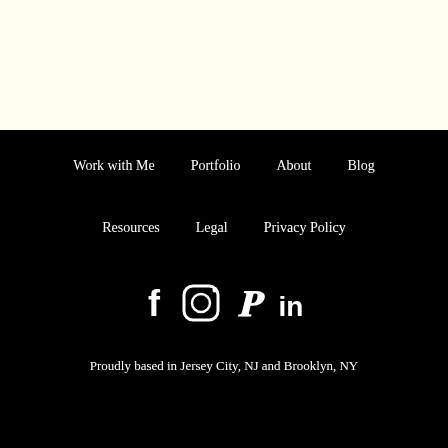Work with Me
Portfolio
About
Blog
Resources
Legal
Privacy Policy
[Figure (infographic): Social media icons row: Facebook (f), Instagram (camera/circle), Pinterest (P), LinkedIn (in)]
Proudly based in Jersey City, NJ and Brooklyn, NY